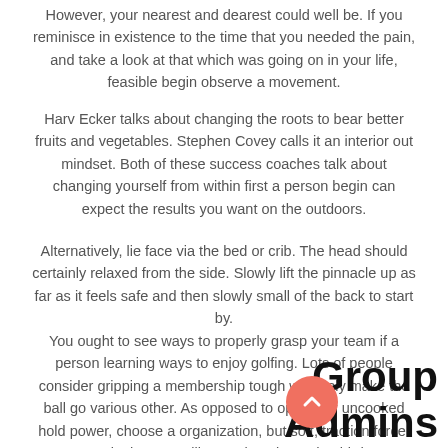However, your nearest and dearest could well be. If you reminisce in existence to the time that you needed the pain, and take a look at that which was going on in your life, feasible begin observe a movement.
Harv Ecker talks about changing the roots to bear better fruits and vegetables. Stephen Covey calls it an interior out mindset. Both of these success coaches talk about changing yourself from within first a person begin can expect the results you want on the outdoors.
Alternatively, lie face via the bed or crib. The head should certainly relaxed from the side. Slowly lift the pinnacle up as far as it feels safe and then slowly small of the back to start by.
You ought to see ways to properly grasp your team if a person learning ways to enjoy golfing. Lots of people consider gripping a membership tough will likely make the ball go various other. As opposed to opting for uncooked hold power, choose a organization, but soft, traction force. Retain the group like you keeping a dog bird.
Group Admins